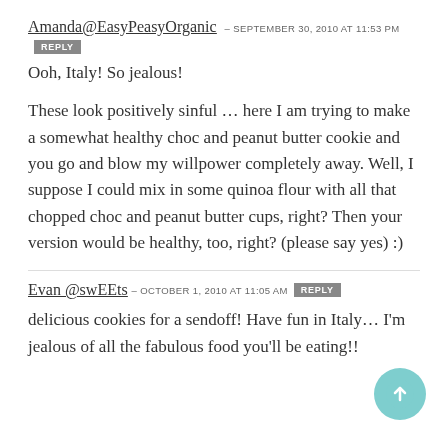Amanda@EasyPeasyOrganic – SEPTEMBER 30, 2010 at 11:53 PM  REPLY
Ooh, Italy! So jealous!

These look positively sinful … here I am trying to make a somewhat healthy choc and peanut butter cookie and you go and blow my willpower completely away. Well, I suppose I could mix in some quinoa flour with all that chopped choc and peanut butter cups, right? Then your version would be healthy, too, right? (please say yes) :)
Evan @swEEts – OCTOBER 1, 2010 at 11:05 AM  REPLY
delicious cookies for a sendoff! Have fun in Italy… I'm jealous of all the fabulous food you'll be eating!!